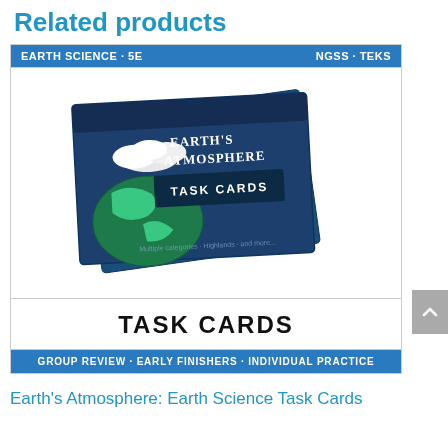Related products
[Figure (illustration): Product card for Earth's Atmosphere Task Cards — Earth Science 5E, NGSS, TEKS. Shows a navy blue task card set with Earth's Atmosphere written on it, a globe image, and text reading TASK CARDS. Bottom banner reads GROUP REVIEW · EARLY FINISHERS · INDIVIDUAL PRACTICE.]
Earth's Atmosphere: Earth Science Task Cards